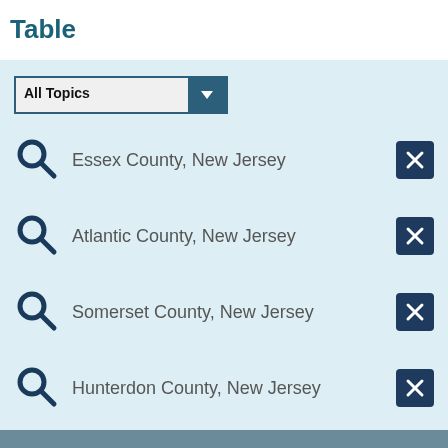Table
All Topics
Essex County, New Jersey
Atlantic County, New Jersey
Somerset County, New Jersey
Hunterdon County, New Jersey